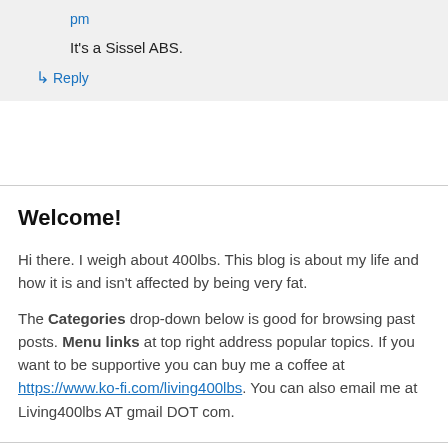pm
It's a Sissel ABS.
↳ Reply
Welcome!
Hi there. I weigh about 400lbs. This blog is about my life and how it is and isn't affected by being very fat.
The Categories drop-down below is good for browsing past posts. Menu links at top right address popular topics. If you want to be supportive you can buy me a coffee at https://www.ko-fi.com/living400lbs. You can also email me at Living400lbs AT gmail DOT com.